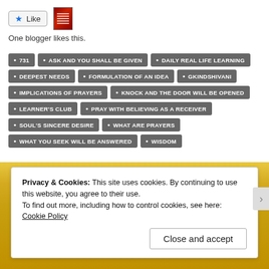[Figure (other): Like button with star icon and a small red book thumbnail image]
One blogger likes this.
• 731
• ASK AND YOU SHALL BE GIVEN
• DAILY REAL LIFE LEARNING
• DEEPEST NEEDS
• FORMULATION OF AN IDEA
• GKINDSHIVANI
• IMPLICATIONS OF PRAYERS
• KNOCK AND THE DOOR WILL BE OPENED
• LEARNER'S CLUB
• PRAY WITH BELIEVING AS A RECEIVER
• SOUL'S SINCERE DESIRE
• WHAT ARE PRAYERS
• WHAT YOU SEEK WILL BE ANSWERED
• WISDOM
Privacy & Cookies: This site uses cookies. By continuing to use this website, you agree to their use.
To find out more, including how to control cookies, see here: Cookie Policy
Close and accept